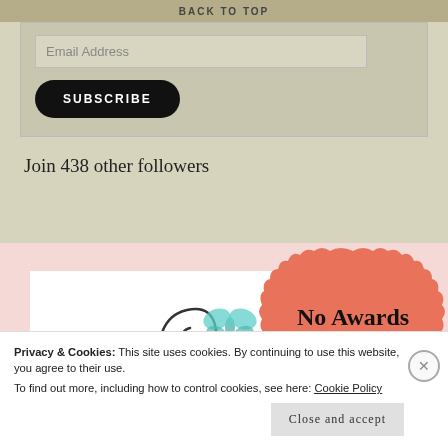BACK TO TOP
Email Address
SUBSCRIBE
Join 438 other followers
[Figure (illustration): Blog card with decorative swirl, butterfly, flower and leaf illustration on white background, beside a coral/salmon colored 'No Awards Please' badge with scalloped border]
Privacy & Cookies: This site uses cookies. By continuing to use this website, you agree to their use.
To find out more, including how to control cookies, see here: Cookie Policy
Close and accept